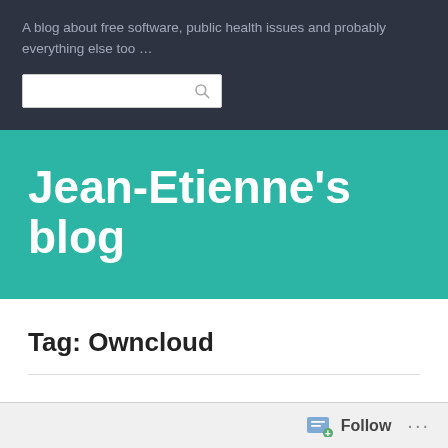A blog about free software, public health issues and probably everything else too …
[Figure (screenshot): Search input box with magnifying glass icon]
Jean-Etienne's blog
Tag: Owncloud
Any free solution for the
Follow …